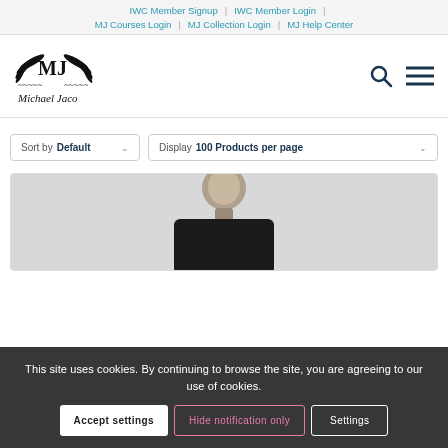IWC Member Signup | IWC Member Login | MJ Courses Login | MJ Collection Login | MJ Help Center
[Figure (logo): Michael Jaco logo with MJ emblem and laurel wings, script text 'Michael Jaco']
Sort by Default   Display 100 Products per page
[Figure (photo): Photo of a man wearing dark clothing, partially visible from chest up]
This site uses cookies. By continuing to browse the site, you are agreeing to our use of cookies.
Accept settings   Hide notification only   Settings